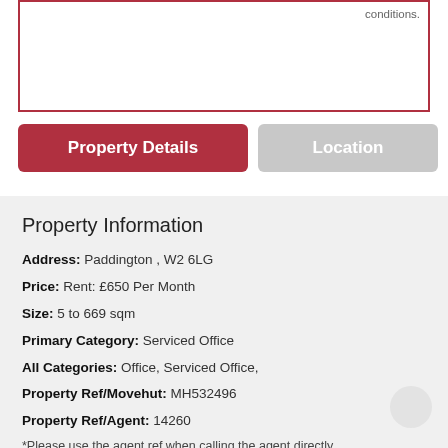conditions.
Property Details
Location
Property Information
Address: Paddington , W2 6LG
Price: Rent: £650 Per Month
Size: 5 to 669 sqm
Primary Category: Serviced Office
All Categories: Office, Serviced Office,
Property Ref/Movehut: MH532496
Property Ref/Agent: 14260
*Please use the agent ref when calling the agent directly.
Property description